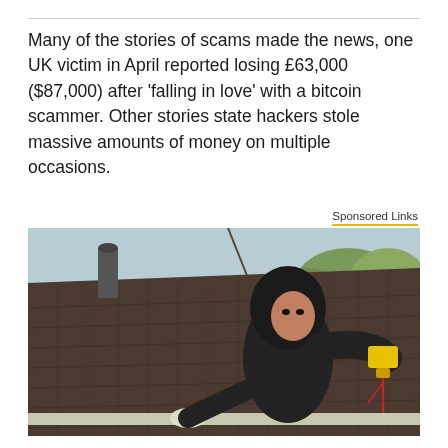Many of the stories of scams made the news, one UK victim in April reported losing £63,000 ($87,000) after 'falling in love' with a bitcoin scammer. Other stories state hackers stole massive amounts of money on multiple occasions.
Sponsored Links
[Figure (photo): A person in a dark hooded jacket working on a rooftop, holding a yellow power tool near the roof gutter. The roof is covered with dark shingles. Trees and a brick house are visible in the background.]